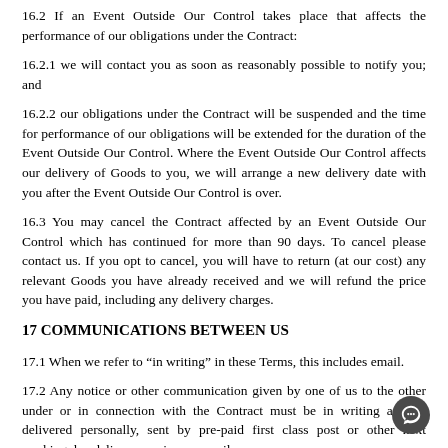16.2 If an Event Outside Our Control takes place that affects the performance of our obligations under the Contract:
16.2.1 we will contact you as soon as reasonably possible to notify you; and
16.2.2 our obligations under the Contract will be suspended and the time for performance of our obligations will be extended for the duration of the Event Outside Our Control. Where the Event Outside Our Control affects our delivery of Goods to you, we will arrange a new delivery date with you after the Event Outside Our Control is over.
16.3 You may cancel the Contract affected by an Event Outside Our Control which has continued for more than 90 days. To cancel please contact us. If you opt to cancel, you will have to return (at our cost) any relevant Goods you have already received and we will refund the price you have paid, including any delivery charges.
17 COMMUNICATIONS BETWEEN US
17.1 When we refer to “in writing” in these Terms, this includes email.
17.2 Any notice or other communication given by one of us to the other under or in connection with the Contract must be in writing and be delivered personally, sent by pre-paid first class post or other next working day delivery service, or email.
17.3 Communications addressed to us shall be marked for the attention